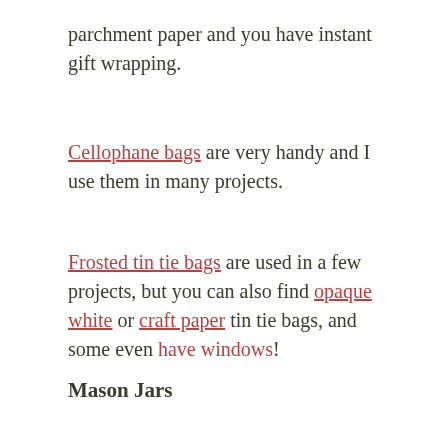parchment paper and you have instant gift wrapping.
Cellophane bags are very handy and I use them in many projects.
Frosted tin tie bags are used in a few projects, but you can also find opaque white or craft paper tin tie bags, and some even have windows!
Mason Jars
There are so many mason jars to choose from and you likely have a lot at home right now! Here are the ones that I like to use most of the time: